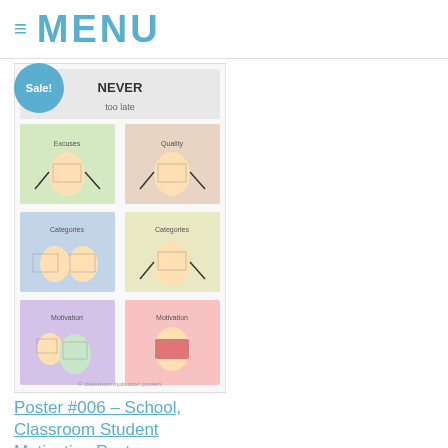≡ MENU
[Figure (illustration): Sale badge and product image showing classroom motivation poster set #006 with cartoon comic-strip style illustrations in a grid layout]
Poster #006 – School, Classroom Student Motivation Posters
$11.00 $8.00
[Figure (illustration): Sale badge and second product image showing a student motivation poster with text 'what you want' and a cartoon character, listing options a, b, c for 'Whatever job no one else wants']